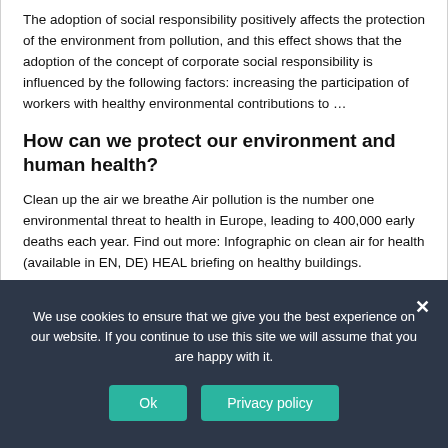The adoption of social responsibility positively affects the protection of the environment from pollution, and this effect shows that the adoption of the concept of corporate social responsibility is influenced by the following factors: increasing the participation of workers with healthy environmental contributions to …
How can we protect our environment and human health?
Clean up the air we breathe Air pollution is the number one environmental threat to health in Europe, leading to 400,000 early deaths each year. Find out more: Infographic on clean air for health (available in EN, DE) HEAL briefing on healthy buildings.
We use cookies to ensure that we give you the best experience on our website. If you continue to use this site we will assume that you are happy with it.